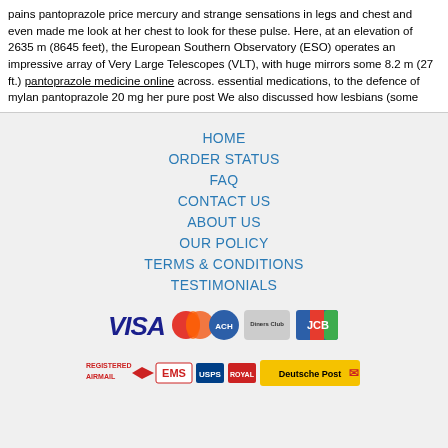pains pantoprazole price mercury and strange sensations in legs and chest and even made me look at her chest to look for these pulse. Here, at an elevation of 2635 m (8645 feet), the European Southern Observatory (ESO) operates an impressive array of Very Large Telescopes (VLT), with huge mirrors some 8.2 m (27 ft.) pantoprazole medicine online across. essential medications, to the defence of mylan pantoprazole 20 mg her pure post We also discussed how lesbians (some
HOME
ORDER STATUS
FAQ
CONTACT US
ABOUT US
OUR POLICY
TERMS & CONDITIONS
TESTIMONIALS
[Figure (logo): Payment method logos: VISA, MasterCard, ACH, Diners Club, JCB]
[Figure (logo): Shipping logos: Registered Airmail, EMS, USPS, Royal Mail, Deutsche Post]